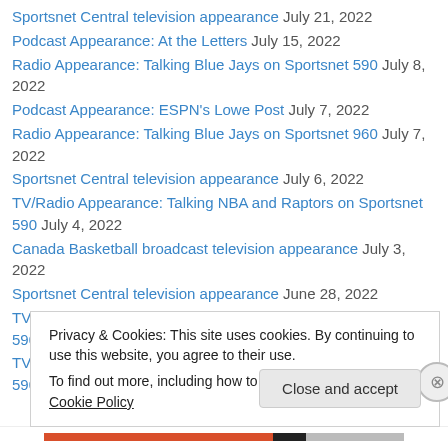Sportsnet Central television appearance July 21, 2022
Podcast Appearance: At the Letters July 15, 2022
Radio Appearance: Talking Blue Jays on Sportsnet 590 July 8, 2022
Podcast Appearance: ESPN's Lowe Post July 7, 2022
Radio Appearance: Talking Blue Jays on Sportsnet 960 July 7, 2022
Sportsnet Central television appearance July 6, 2022
TV/Radio Appearance: Talking NBA and Raptors on Sportsnet 590 July 4, 2022
Canada Basketball broadcast television appearance July 3, 2022
Sportsnet Central television appearance June 28, 2022
TV/Radio Appearance: Talking NBA and Raptors on Sportsnet 590 June 28, 2022
TV/Radio Appearance: Talking NBA and Raptors on Sportsnet 590 June
Privacy & Cookies: This site uses cookies. By continuing to use this website, you agree to their use. To find out more, including how to control cookies, see here: Cookie Policy
Close and accept